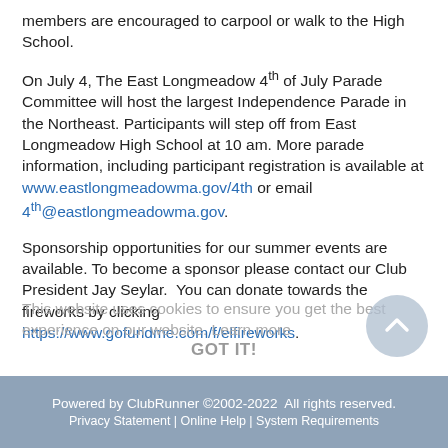members are encouraged to carpool or walk to the High School.
On July 4, The East Longmeadow 4th of July Parade Committee will host the largest Independence Parade in the Northeast. Participants will step off from East Longmeadow High School at 10 am. More parade information, including participant registration is available at www.eastlongmeadowma.gov/4th or email 4th@eastlongmeadowma.gov.
Sponsorship opportunities for our summer events are available. To become a sponsor please contact our Club President Jay Seylar. You can donate towards the fireworks by clicking https://www.gofundme.com/f/elfireworks.
This website uses cookies to ensure you get the best experience on our website. Learn more
GOT IT!
Powered by ClubRunner ©2002-2022  All rights reserved. Privacy Statement | Online Help | System Requirements